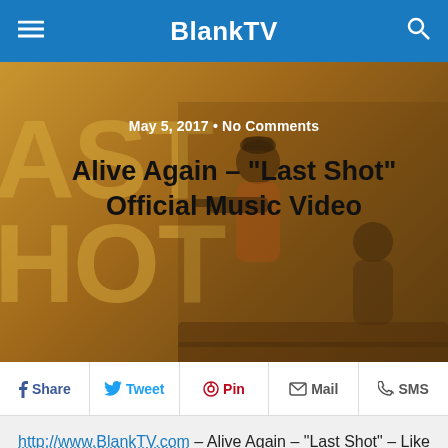BlankTV
[Figure (photo): Hero image with golden/sepia toned background showing 'LAST SHOT' text overlay and people in the background. Date and article title are overlaid on the image.]
Alive Again – “Last Shot” Official Music Video
May 5, 2017 • No Comments
Share Tweet Pin Mail SMS
http://www.BlankTV.com – Alive Again – “Last Shot” – Like this video? Come see thousands more at the Net’s largest, uncensored, completely d.i.y. music video site, BlankTV.com! We’ve got News, Games, Contests and the stuff that we can’t show on YouTube!